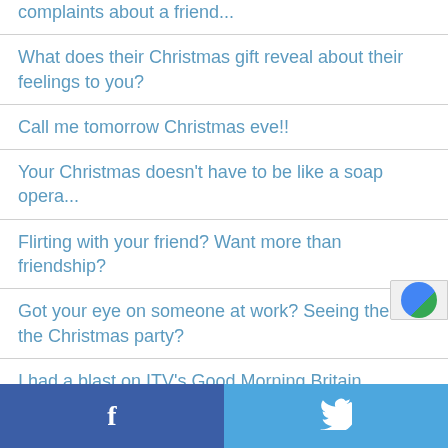complaints about a friend...
What does their Christmas gift reveal about their feelings to you?
Call me tomorrow Christmas eve!!
Your Christmas doesn't have to be like a soap opera...
Flirting with your friend? Want more than friendship?
Got your eye on someone at work? Seeing them at the Christmas party?
I had a blast on ITV's Good Morning Britain
f  [Twitter bird icon]